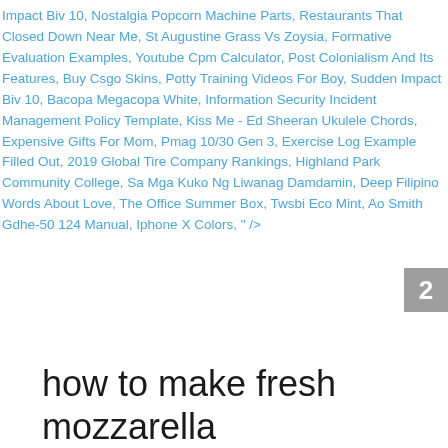Impact Biv 10, Nostalgia Popcorn Machine Parts, Restaurants That Closed Down Near Me, St Augustine Grass Vs Zoysia, Formative Evaluation Examples, Youtube Cpm Calculator, Post Colonialism And Its Features, Buy Csgo Skins, Potty Training Videos For Boy, Sudden Impact Biv 10, Bacopa Megacopa White, Information Security Incident Management Policy Template, Kiss Me - Ed Sheeran Ukulele Chords, Expensive Gifts For Mom, Pmag 10/30 Gen 3, Exercise Log Example Filled Out, 2019 Global Tire Company Rankings, Highland Park Community College, Sa Mga Kuko Ng Liwanag Damdamin, Deep Filipino Words About Love, The Office Summer Box, Twsbi Eco Mint, Ao Smith Gdhe-50 124 Manual, Iphone X Colors, " />
2
how to make fresh mozzarella